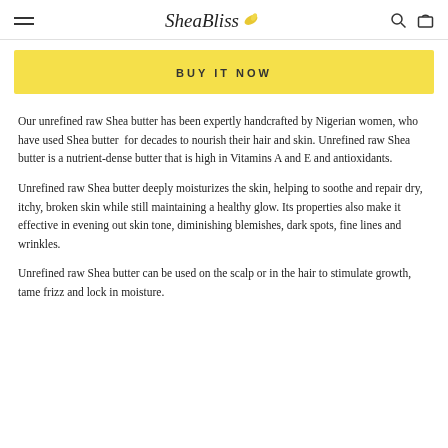SheaBliss
BUY IT NOW
Our unrefined raw Shea butter has been expertly handcrafted by Nigerian women, who have used Shea butter  for decades to nourish their hair and skin. Unrefined raw Shea butter is a nutrient-dense butter that is high in Vitamins A and E and antioxidants.
Unrefined raw Shea butter deeply moisturizes the skin, helping to soothe and repair dry, itchy, broken skin while still maintaining a healthy glow. Its properties also make it effective in evening out skin tone, diminishing blemishes, dark spots, fine lines and wrinkles.
Unrefined raw Shea butter can be used on the scalp or in the hair to stimulate growth, tame frizz and lock in moisture.